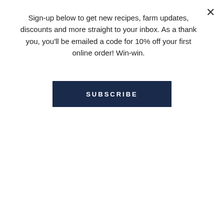Sign-up below to get new recipes, farm updates, discounts and more straight to your inbox. As a thank you, you'll be emailed a code for 10% off your first online order! Win-win.
SUBSCRIBE
Isabel's favorite variety here at the farm. She says their future "garden will get help from our three crotchety chickens and our fifteen [!] new ducklings." We love that, we've had a few 'crotchety' chickens in our days.
Her absolute favorite Bow Hill product is our Organic Heirloom Blueberry Juice (in her words–"juice juice JUICE"). She likes to mix it with her kombucha (that's a very smart idea, she's figured out a way to pack in even more nutrients to both) or drink a tall glass of it straight. Fun small world moment, without even knowing it before applying to Bow Hill, Isabel and Rachel, who works with us year-round, worked at the same